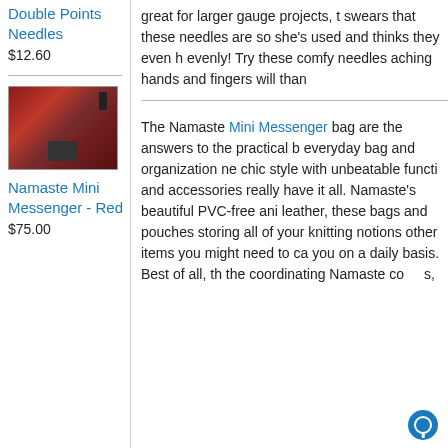Double Points Needles
$12.60
great for larger gauge projects, t swears that these needles are so she's used and thinks they even h evenly! Try these comfy needles aching hands and fingers will than
[Figure (photo): A red leather Namaste Mini Messenger bag shown from the front with dark hardware details and straps, displayed against a leafy background.]
Namaste Mini Messenger - Red
$75.00
The Namaste Mini Messenger bag are the answers to the practical everyday bag and organization ne chic style with unbeatable functi and accessories really have it all. Namaste's beautiful PVC-free ani leather, these bags and pouches storing all of your knitting notions other items you might need to ca you on a daily basis. Best of all, th the coordinating Namaste co the